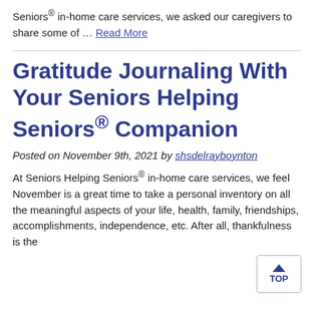Seniors® in-home care services, we asked our caregivers to share some of … Read More
Gratitude Journaling With Your Seniors Helping Seniors® Companion
Posted on November 9th, 2021 by shsdelrayboynton
At Seniors Helping Seniors® in-home care services, we feel November is a great time to take a personal inventory on all the meaningful aspects of your life, health, family, friendships, accomplishments, independence, etc. After all, thankfulness is the